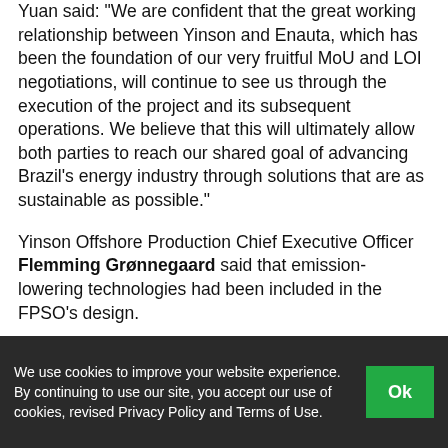Yuan said: "We are confident that the great working relationship between Yinson and Enauta, which has been the foundation of our very fruitful MoU and LOI negotiations, will continue to see us through the execution of the project and its subsequent operations. We believe that this will ultimately allow both parties to reach our shared goal of advancing Brazil's energy industry through solutions that are as sustainable as possible."
Yinson Offshore Production Chief Executive Officer Flemming Grønnegaard said that emission-lowering technologies had been included in the FPSO's design.
He said: "We believe that Yinson and Enauta's
We use cookies to improve your website experience. By continuing to use our site, you accept our use of cookies, revised Privacy Policy and Terms of Use.